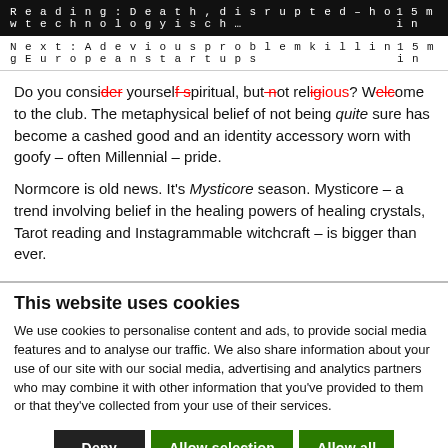Reading: Death, disrupted – how technology is ch...   15 min
Next: A devious problem killing European startups   15 min
Do you consider yourself spiritual, but not religious? Welcome to the club. The metaphysical belief of not being quite sure has become a cashed good and an identity accessory worn with goofy – often Millennial – pride.
Normcore is old news. It's Mysticore season. Mysticore – a trend involving belief in the healing powers of healing crystals, Tarot reading and Instagrammable witchcraft – is bigger than ever.
This website uses cookies
We use cookies to personalise content and ads, to provide social media features and to analyse our traffic. We also share information about your use of our site with our social media, advertising and analytics partners who may combine it with other information that you've provided to them or that they've collected from your use of their services.